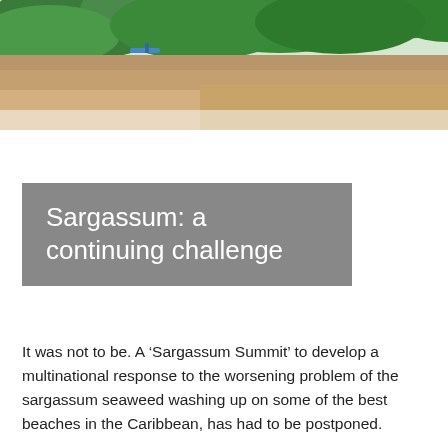[Figure (photo): Partial view of a coastal or beach scene with tropical vegetation (green trees/foliage) visible at the top of the image, cropped so only the upper portion of the photo is visible.]
Sargassum: a continuing challenge
It was not to be. A ‘Sargassum Summit’ to develop a multinational response to the worsening problem of the sargassum seaweed washing up on some of the best beaches in the Caribbean, has had to be postponed.